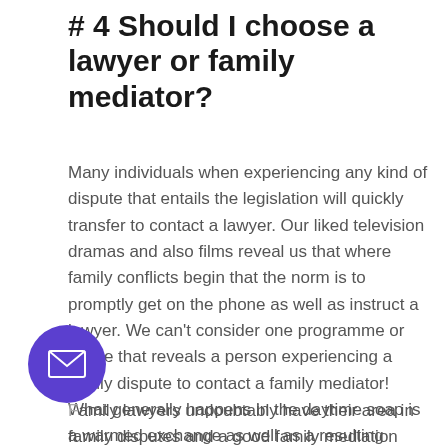# 4 Should I choose a lawyer or family mediator?
Many individuals when experiencing any kind of dispute that entails the legislation will quickly transfer to contact a lawyer. Our liked television dramas and also films reveal us that where family conflicts begin that the norm is to promptly get on the phone as well as instruct a lawyer. We can't consider one programme or movie that reveals a person experiencing a family dispute to contact a family mediator! What generally happens in the daytime soap is a warmed exchange as well as a resulting dramatic court space fight. In truth, this is just great to view on
[Figure (other): Purple circular button with white envelope/mail icon]
Family lawyers undoubtably have their area in family disputes and a good family mediation would certainly